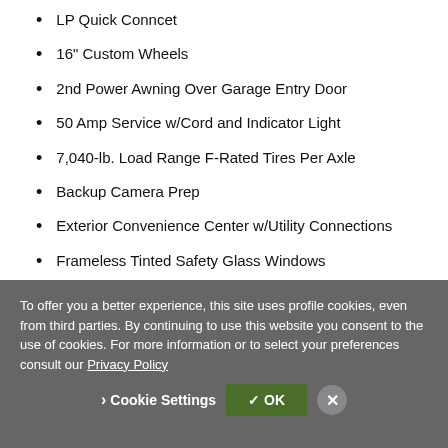LP Quick Conncet
16" Custom Wheels
2nd Power Awning Over Garage Entry Door
50 Amp Service w/Cord and Indicator Light
7,040-lb. Load Range F-Rated Tires Per Axle
Backup Camera Prep
Exterior Convenience Center w/Utility Connections
Frameless Tinted Safety Glass Windows
To offer you a better experience, this site uses profile cookies, even from third parties. By continuing to use this website you consent to the use of cookies. For more information or to select your preferences consult our Privacy Policy